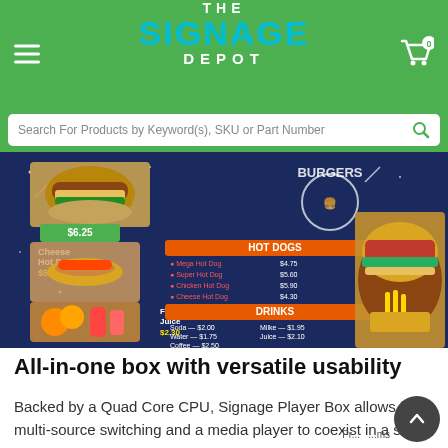THE SIGNAGE DEPOT
Search For Products by Keyword(s), SKU or Part Number
[Figure (photo): Digital signage menu board display showing burgers, hot dogs, and drinks menu with food images on a dark blue starry background]
All-in-one box with versatile usability
Backed by a Quad Core CPU, Signage Player Box allows for multi-source switching and a media player to coexist in a single box. Leveraging the embedded Samsung SMART Signage Platform, the box transforms video walls for faster information processing and easy content management with MagicINFO solution.